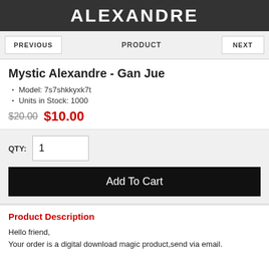ALEXANDRE
PREVIOUS   PRODUCT   NEXT
Mystic Alexandre - Gan Jue
Model: 7s7shkkyxk7t
Units in Stock: 1000
$20.00  $10.00
QTY: 1
Add To Cart
Product Description
Hello friend,
Your order is a digital download magic product,send via email.